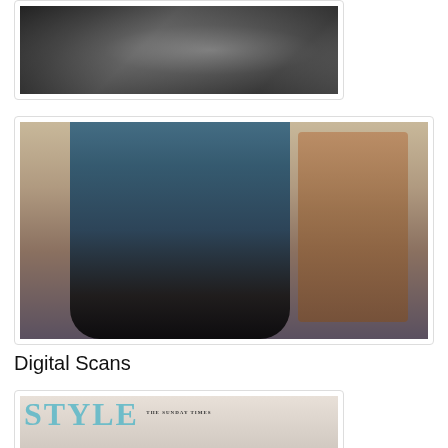[Figure (photo): Black and white close-up photo, partial view showing hands and clothing detail]
[Figure (photo): Color portrait of a young man in a teal blue shirt sitting casually with his hand to his face, next to a wooden chair, in an urban outdoor setting]
Digital Scans
[Figure (photo): Magazine cover for STYLE - The Sunday Times, showing large teal/blue STYLE lettering over a photo]